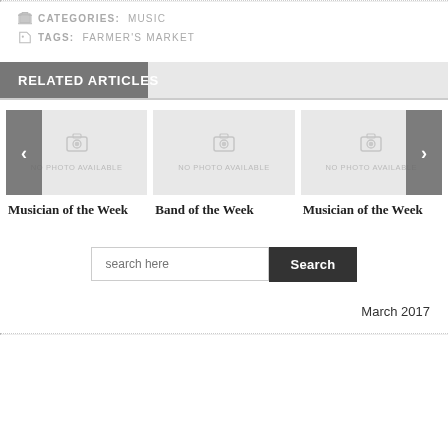CATEGORIES:  MUSIC
TAGS:  FARMER'S MARKET
RELATED ARTICLES
[Figure (screenshot): Three article cards with no-photo placeholder images: Musician of the Week, Band of the Week, Musician of the Week. Left and right navigation arrows.]
Musician of the Week
Band of the Week
Musician of the Week
search here
March 2017